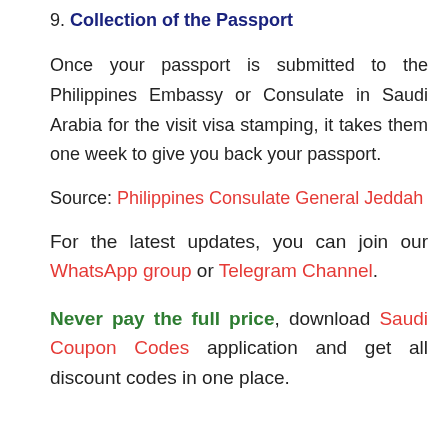9. Collection of the Passport
Once your passport is submitted to the Philippines Embassy or Consulate in Saudi Arabia for the visit visa stamping, it takes them one week to give you back your passport.
Source: Philippines Consulate General Jeddah
For the latest updates, you can join our WhatsApp group or Telegram Channel.
Never pay the full price, download Saudi Coupon Codes application and get all discount codes in one place.